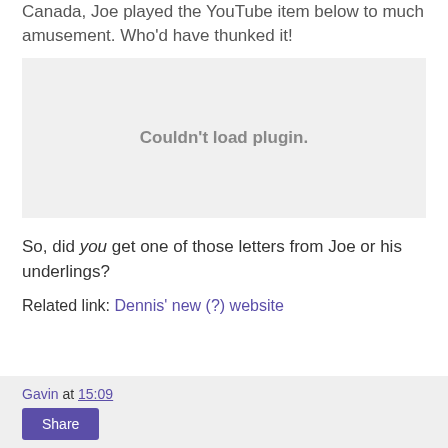Canada, Joe played the YouTube item below to much amusement. Who'd have thunked it!
[Figure (other): Embedded video plugin placeholder showing 'Couldn't load plugin.']
So, did you get one of those letters from Joe or his underlings?
Related link: Dennis' new (?) website
Gavin at 15:09 | Share